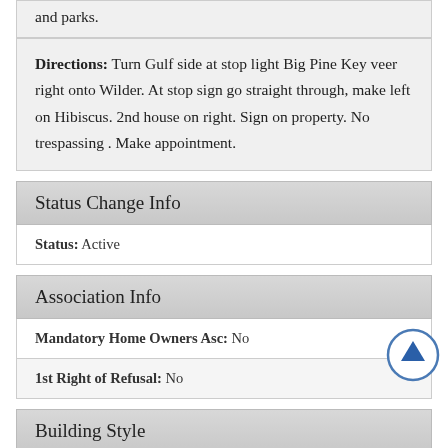and parks.
Directions: Turn Gulf side at stop light Big Pine Key veer right onto Wilder. At stop sign go straight through, make left on Hibiscus. 2nd house on right. Sign on property. No trespassing . Make appointment.
Status Change Info
Status: Active
Association Info
Mandatory Home Owners Asc: No
1st Right of Refusal: No
Building Style